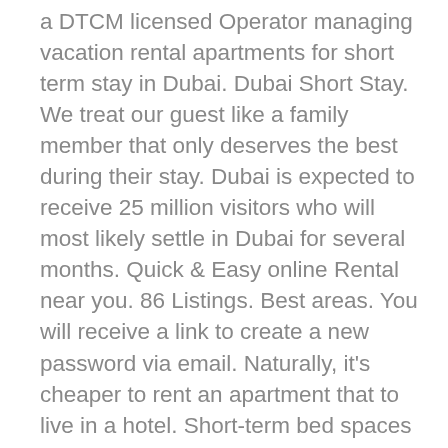a DTCM licensed Operator managing vacation rental apartments for short term stay in Dubai. Dubai Short Stay. We treat our guest like a family member that only deserves the best during their stay. Dubai is expected to receive 25 million visitors who will most likely settle in Dubai for several months. Quick & Easy online Rental near you. 86 Listings. Best areas. You will receive a link to create a new password via email. Naturally, it's cheaper to rent an apartment that to live in a hotel. Short-term bed spaces in Dubai need more publicity in order to stand out and attract more tenants. One bedroom apartment in Dubai Marina, Cayan Tower, Dubai , Dubai Marina These are largely for tourists and business professional visiting the city, looking for a homely place to stay in after their busy days of sightseeing or working. Kennedy Towers is the largest short term rental property management company in Dubai. You can